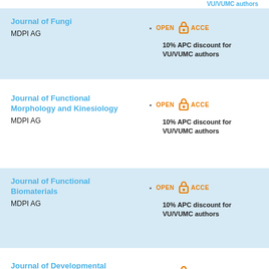VU/VUMC authors
Journal of Fungi
MDPI AG
OPEN ACCESS
10% APC discount for VU/VUMC authors
Journal of Functional Morphology and Kinesiology
MDPI AG
OPEN ACCESS
10% APC discount for VU/VUMC authors
Journal of Functional Biomaterials
MDPI AG
OPEN ACCESS
10% APC discount for VU/VUMC authors
Journal of Developmental Biology
MDPI AG
OPEN ACCESS
10% APC discount for